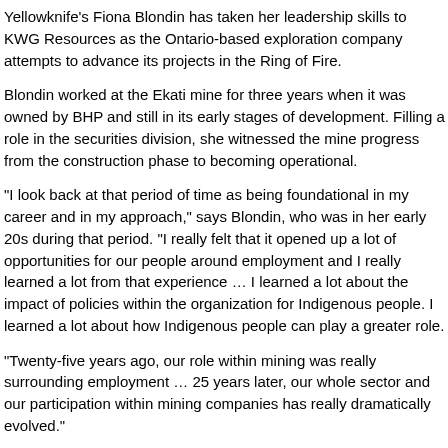Yellowknife's Fiona Blondin has taken her leadership skills to KWG Resources as the Ontario-based exploration company attempts to advance its projects in the Ring of Fire.
Blondin worked at the Ekati mine for three years when it was owned by BHP and still in its early stages of development. Filling a role in the securities division, she witnessed the mine progress from the construction phase to becoming operational.
“I look back at that period of time as being foundational in my career and in my approach,” says Blondin, who was in her early 20s during that period. “I really felt that it opened up a lot of opportunities for our people around employment and I really learned a lot from that experience … I learned a lot about the impact of policies within the organization for Indigenous people. I learned a lot about how Indigenous people can play a greater role.
“Twenty-five years ago, our role within mining was really surrounding employment … 25 years later, our whole sector and our participation within mining companies has really dramatically evolved.”
It is with that mindset that she accepted an appointment as a director on